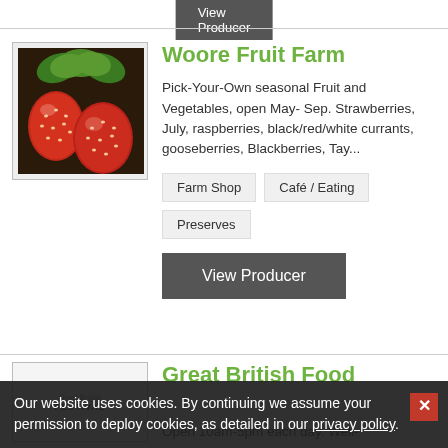[Figure (other): Button labeled 'View Producer' on dark grey background at top of page]
[Figure (photo): Close-up photograph of ripe red strawberries on the plant with green leaves]
Woore Fruit Farm
Pick-Your-Own seasonal Fruit and Vegetables, open May- Sep. Strawberries, July, raspberries, black/red/white currants, gooseberries, Blackberries, Tay...
Farm Shop
Café / Eating
Preserves
[Figure (other): Button labeled 'View Producer' on dark grey background]
[Figure (logo): Great British Food Festival logo with italic text and bold FESTIVAL label]
Great British Food
Open 10am-5pm each day. Well-
Our website uses cookies. By continuing we assume your permission to deploy cookies, as detailed in our privacy policy.